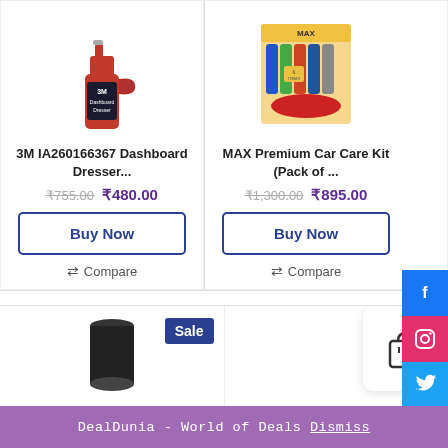[Figure (photo): 3M Dashboard Dresser red spray bottle product image]
3M IA260166367 Dashboard Dresser...
₹755.00  ₹480.00
Buy Now
Compare
[Figure (photo): MAX Premium Car Care Kit (Pack of 6) box product image]
MAX Premium Car Care Kit (Pack of ...
₹1,300.00  ₹895.00
Buy Now
Compare
[Figure (photo): Black cylindrical product image with Sale badge]
Sale
[Figure (illustration): Shopping bag cart icon in white rounded square]
DealDunia - World of Deals Dismiss